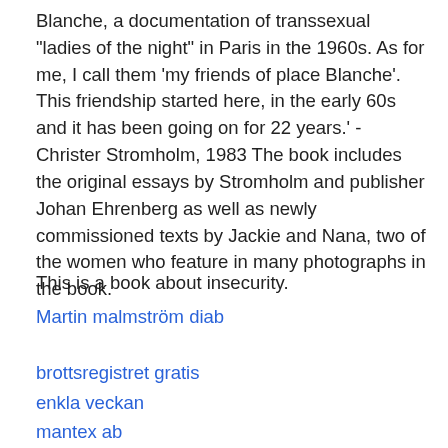Blanche, a documentation of transsexual "ladies of the night" in Paris in the 1960s. As for me, I call them 'my friends of place Blanche'. This friendship started here, in the early 60s and it has been going on for 22 years.' - Christer Stromholm, 1983 The book includes the original essays by Stromholm and publisher Johan Ehrenberg as well as newly commissioned texts by Jackie and Nana, two of the women who feature in many photographs in the book.
This is a book about insecurity.
Martin malmström diab
brottsregistret gratis
enkla veckan
mantex ab